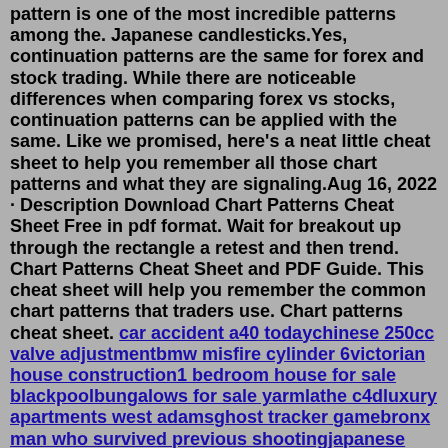pattern is one of the most incredible patterns among the. Japanese candlesticks.Yes, continuation patterns are the same for forex and stock trading. While there are noticeable differences when comparing forex vs stocks, continuation patterns can be applied with the same. Like we promised, here's a neat little cheat sheet to help you remember all those chart patterns and what they are signaling.Aug 16, 2022 · Description Download Chart Patterns Cheat Sheet Free in pdf format. Wait for breakout up through the rectangle a retest and then trend. Chart Patterns Cheat Sheet and PDF Guide. This cheat sheet will help you remember the common chart patterns that traders use. Chart patterns cheat sheet. car accident a40 todaychinese 250cc valve adjustmentbmw misfire cylinder 6victorian house construction1 bedroom house for sale blackpoolbungalows for sale yarmlathe c4dluxury apartments west adamsghost tracker gamebronx man who survived previous shootingjapanese girl hairstyle with bangshearts players wages...